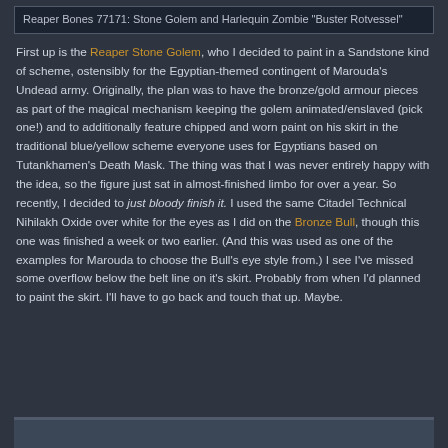Reaper Bones 77171: Stone Golem and Harlequin Zombie "Buster Rotvessel"
First up is the Reaper Stone Golem, who I decided to paint in a Sandstone kind of scheme, ostensibly for the Egyptian-themed contingent of Marouda's Undead army. Originally, the plan was to have the bronze/gold armour pieces as part of the magical mechanism keeping the golem animated/enslaved (pick one!) and to additionally feature chipped and worn paint on his skirt in the traditional blue/yellow scheme everyone uses for Egyptians based on Tutankhamen's Death Mask. The thing was that I was never entirely happy with the idea, so the figure just sat in almost-finished limbo for over a year. So recently, I decided to just bloody finish it. I used the same Citadel Technical Nihilakh Oxide over white for the eyes as I did on the Bronze Bull, though this one was finished a week or two earlier. (And this was used as one of the examples for Marouda to choose the Bull's eye style from.) I see I've missed some overflow below the belt line on it's skirt. Probably from when I'd planned to paint the skirt. I'll have to go back and touch that up. Maybe.
[Figure (photo): Partial view of a painted miniature figure, bottom portion visible]